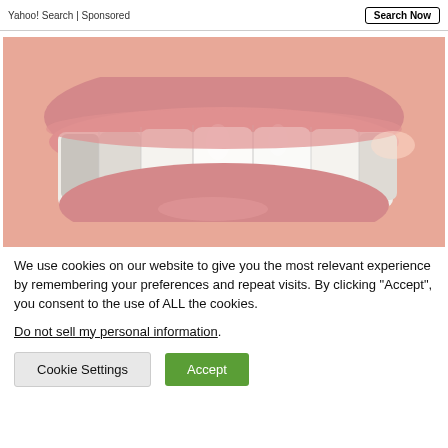Yahoo! Search | Sponsored
[Figure (photo): Close-up photo of a person smiling showing white teeth and pink lips]
We use cookies on our website to give you the most relevant experience by remembering your preferences and repeat visits. By clicking “Accept”, you consent to the use of ALL the cookies.
Do not sell my personal information.
Cookie Settings
Accept